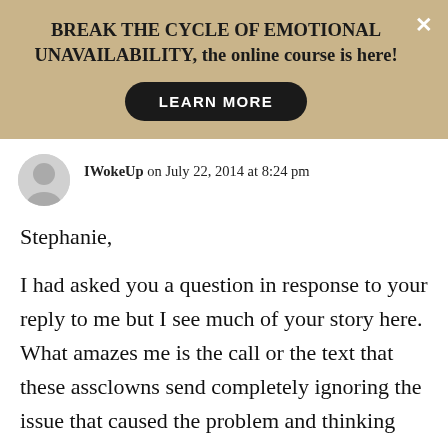BREAK THE CYCLE OF EMOTIONAL UNAVAILABILITY, the online course is here! LEARN MORE
IWokeUp on July 22, 2014 at 8:24 pm
Stephanie,
I had asked you a question in response to your reply to me but I see much of your story here. What amazes me is the call or the text that these assclowns send completely ignoring the issue that caused the problem and thinking